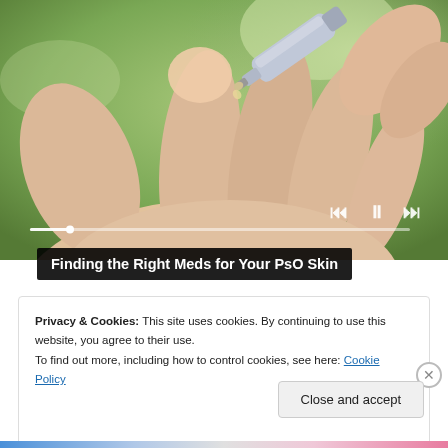[Figure (photo): Close-up photo of a hand palm-up with a silver cream/medication tube being dispensed onto the fingertip, against a green blurred background. Video player controls (skip back, pause, skip forward) and a progress bar are overlaid at the bottom of the image.]
Finding the Right Meds for Your PsO Skin
Privacy & Cookies: This site uses cookies. By continuing to use this website, you agree to their use.
To find out more, including how to control cookies, see here: Cookie Policy
Close and accept